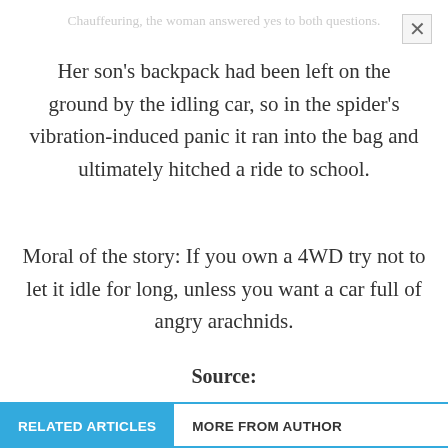Chauffeuring, the woman answered yes to both questions.
Her son's backpack had been left on the ground by the idling car, so in the spider's vibration-induced panic it ran into the bag and ultimately hitched a ride to school.
Moral of the story: If you own a 4WD try not to let it idle for long, unless you want a car full of angry arachnids.
Source:
news.com.au
RELATED ARTICLES   MORE FROM AUTHOR